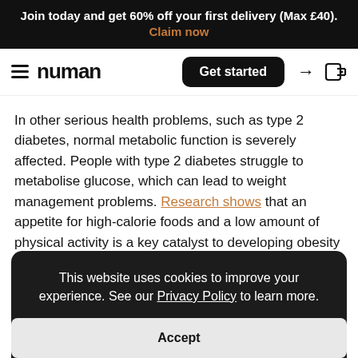Join today and get 60% off your first delivery (Max £40). Claim now
[Figure (screenshot): Numan website navigation bar with hamburger menu, numan logo, 'Get started' button, and login icon]
In other serious health problems, such as type 2 diabetes, normal metabolic function is severely affected. People with type 2 diabetes struggle to metabolise glucose, which can lead to weight management problems. Research shows that an appetite for high-calorie foods and a low amount of physical activity is a key catalyst to developing obesity and type 2 diabetes.
Ho me
This website uses cookies to improve your experience. See our Privacy Policy to learn more.
Accept